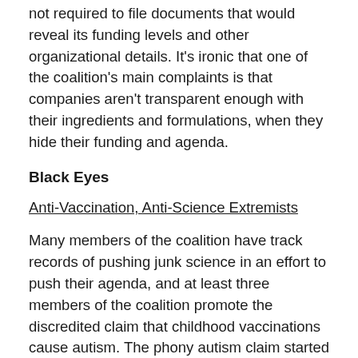not required to file documents that would reveal its funding levels and other organizational details. It's ironic that one of the coalition's main complaints is that companies aren't transparent enough with their ingredients and formulations, when they hide their funding and agenda.
Black Eyes
Anti-Vaccination, Anti-Science Extremists
Many members of the coalition have track records of pushing junk science in an effort to push their agenda, and at least three members of the coalition promote the discredited claim that childhood vaccinations cause autism. The phony autism claim started after Andrew Wakefield and other researchers published a study in The Lancet in 1998 claiming a link between vaccines and autism. That study has been widely discredited and 10 of the 13 authors have retracted the findings. The publishing